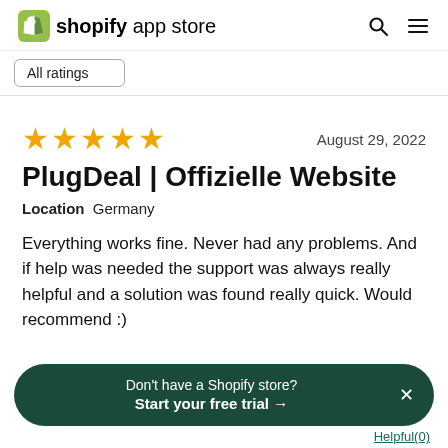shopify app store
All ratings
[Figure (other): Five gold star rating icons]
August 29, 2022
PlugDeal | Offizielle Website
Location  Germany
Everything works fine. Never had any problems. And if help was needed the support was always really helpful and a solution was found really quick. Would recommend :)
Don't have a Shopify store? Start your free trial →